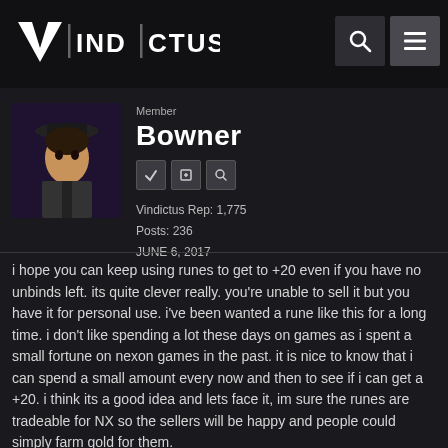[Figure (logo): Vindictus game logo — stylized V with text VINDICTUS in white on dark background]
Member
Bowner
Vindictus Rep: 1,775
Posts: 236
JUNE 6, 2017
i hope you can keep using runes to get to +20 even if you have no unbinds left. its quite clever really. you're unable to sell it but you have it for personal use. i've been wanted a rune like this for a long time. i don't like spending a lot these days on games as i spent a small fortune on nexon games in the past. it is nice to know that i can spend a small amount every now and then to see if i can get a +20. i think its a good idea and lets face it, im sure the runes are tradeable for NX so the sellers will be happy and people could simply farm gold for them.
i am not looking forward to enchanting again. it was piss poor last time after failed around 15 scrolls to finish my gear.